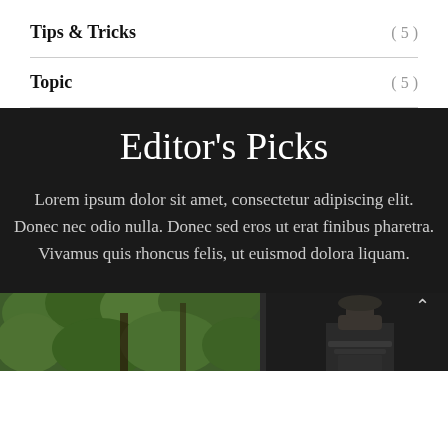Tips & Tricks (5)
Topic (5)
Editor's Picks
Lorem ipsum dolor sit amet, consectetur adipiscing elit. Donec nec odio nulla. Donec sed eros ut erat finibus pharetra. Vivamus quis rhoncus felis, ut euismod dolora liquam.
[Figure (photo): Two photos side by side: left shows green leafy garden vegetation, right shows a dark background with an ornate stone capital or fountain detail]